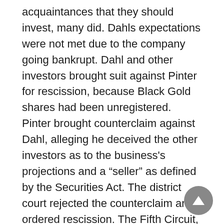acquaintances that they should invest, many did. Dahls expectations were not met due to the company going bankrupt. Dahl and other investors brought suit against Pinter for rescission, because Black Gold shares had been unregistered. Pinter brought counterclaim against Dahl, alleging he deceived the other investors as to the business's projections and a “sellerâ€ as defined by the Securities Act. The district court rejected the counterclaim and ordered rescission. The Fifth Circuit, which held that Dahl’s in pari delicto defense was unattainable in a strict liability action like this one, affirmed. The Supreme Court granted review.